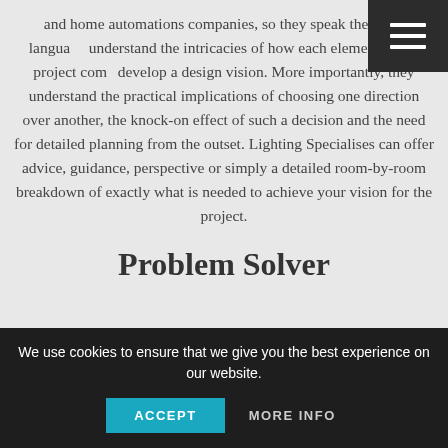they work day in and day out with interior designers, building control and home automations companies, so they speak the same language and understand the intricacies of how each element of the project comes to develop a design vision. More importantly, they understand the practical implications of choosing one direction over another, the knock-on effect of such a decision and the need for detailed planning from the outset. Lighting Specialises can offer advice, guidance, perspective or simply a detailed room-by-room breakdown of exactly what is needed to achieve your vision for the project.
Problem Solver
With a highly skilled lighting designer firm on your team from the outset you
We use cookies to ensure that we give you the best experience on our website.